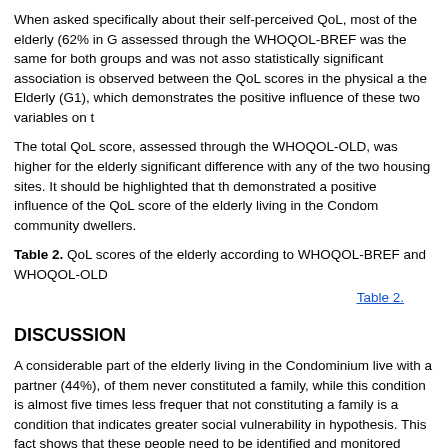When asked specifically about their self-perceived QoL, most of the elderly (62% in G assessed through the WHOQOL-BREF was the same for both groups and was not asso statistically significant association is observed between the QoL scores in the physical a the Elderly (G1), which demonstrates the positive influence of these two variables on t
The total QoL score, assessed through the WHOQOL-OLD, was higher for the elderly significant difference with any of the two housing sites. It should be highlighted that th demonstrated a positive influence of the QoL score of the elderly living in the Condom community dwellers.
Table 2. QoL scores of the elderly according to WHOQOL-BREF and WHOQOL-OLD
Table 2.
DISCUSSION
A considerable part of the elderly living in the Condominium live with a partner (44%), of them never constituted a family, while this condition is almost five times less frequer that not constituting a family is a condition that indicates greater social vulnerability in hypothesis. This fact shows that these people need to be identified and monitored since attempt to minimize the harmful effects of this condition in old age.
On the other hand, the proportion of elderly who live with a partner, identified in this a to investigate and observe the factors that influence the maintenance of the elderly cour Also regarding the marital status, the second highest percentage found referred to wido Concerning the elderly living in the Condominium, besides being widowed, most of th indicates that the elderly who never got married are more prone to condominium life. B should become increasingly apt and prepared to stimulate self-care, so that these elderly